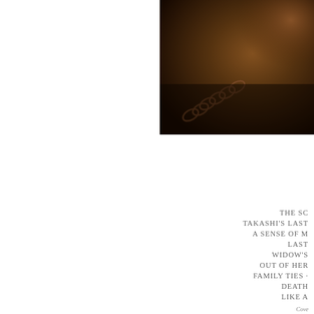[Figure (photo): Dark moody photograph showing a chain or bracelet on a warm brown/amber background with soft lighting]
THE SC
TAKASHI'S LAST
A SENSE OF M
LAST
WIDOW'S
OUT OF HER
FAMILY TIES ·
DEATH
LIKE A
THE S
THE LA
SYNCHRON
IN THE T
JOHN & JENNY AND THE LUMP:
IN AN OLD O
THE LO
WHAT WE CA
Cove